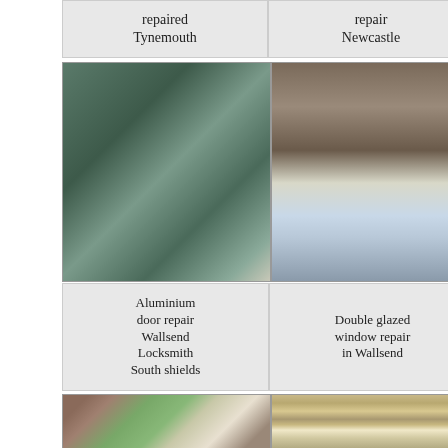repaired Tynemouth
repair Newcastle
South shields
[Figure (photo): Close-up of an aluminium door handle and lock mechanism on a grey/teal coloured door]
[Figure (photo): White double glazed window in brown/taupe interior setting]
[Figure (photo): Conservatory with large glass panels, brick wall visible, outdoor furniture]
Aluminium door repair Wallsend Locksmith South shields
Double glazed window repair in Wallsend
Failed double glazing replaced Whitley bay
[Figure (photo): Interior view of a window with garden visible outside, roman blind above]
[Figure (photo): Close-up of gold/brass door handle and frame detail]
[Figure (photo): Yellow and black bollard in a car park/concrete surface area]